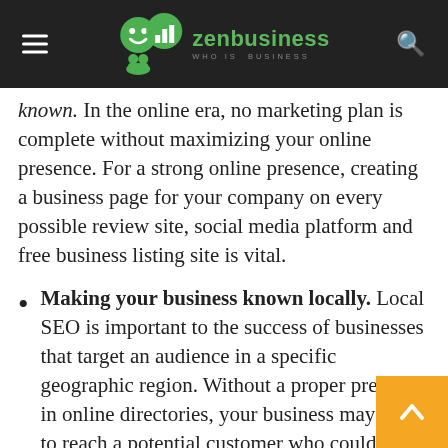zenbusiness — who is business
known. In the online era, no marketing plan is complete without maximizing your online presence. For a strong online presence, creating a business page for your company on every possible review site, social media platform and free business listing site is vital.
Making your business known locally. Local SEO is important to the success of businesses that target an audience in a specific geographic region. Without a proper presence in online directories, your business may fail to reach a potential customer who could travel just minutes from their home to get what they from your company. Without creating a free business listing in directories – which almost